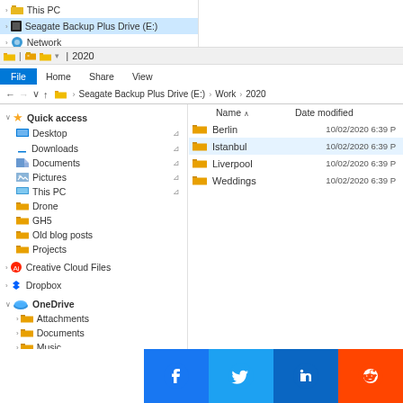[Figure (screenshot): Windows File Explorer screenshot showing navigation panel with Quick access, Creative Cloud Files, Dropbox, OneDrive sections on left, and folder contents (Berlin, Istanbul, Liverpool, Weddings) on right, with social media share buttons at bottom]
This PC
Seagate Backup Plus Drive (E:)
Network
2020
File | Home | Share | View
Seagate Backup Plus Drive (E:) > Work > 2020
Name | Date modified
Quick access
Desktop
Downloads
Documents
Pictures
This PC
Drone
GH5
Old blog posts
Projects
Creative Cloud Files
Dropbox
OneDrive
Attachments
Documents
Music
Pictures
Berlin  10/02/2020 6:39 P
Istanbul  10/02/2020 6:39 P
Liverpool  10/02/2020 6:39 P
Weddings  10/02/2020 6:39 P